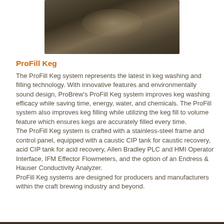[Figure (photo): Dark brownish-olive colored product photo, likely a keg washing/filling system machine, with a soft glowing highlight in the center against a dark background.]
ProFill Keg
The ProFill Keg system represents the latest in keg washing and filling technology. With innovative features and environmentally sound design, ProBrew's ProFill Keg system improves keg washing efficacy while saving time, energy, water, and chemicals. The ProFill system also improves keg filling while utilizing the keg fill to volume feature which ensures kegs are accurately filled every time.
The ProFill Keg system is crafted with a stainless-steel frame and control panel, equipped with a caustic CIP tank for caustic recovery, acid CIP tank for acid recovery, Allen Bradley PLC and HMI Operator Interface, IFM Effector Flowmeters, and the option of an Endress & Hauser Conductivity Analyzer.
ProFill Keg systems are designed for producers and manufacturers within the craft brewing industry and beyond.